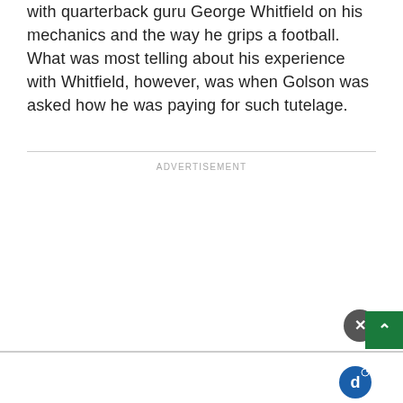with quarterback guru George Whitfield on his mechanics and the way he grips a football. What was most telling about his experience with Whitfield, however, was when Golson was asked how he was paying for such tutelage.
ADVERTISEMENT